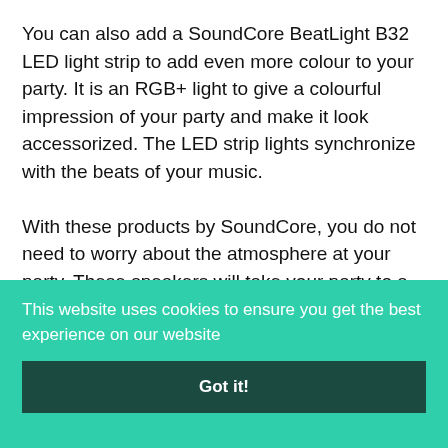You can also add a SoundCore BeatLight B32 LED light strip to add even more colour to your party. It is an RGB+ light to give a colourful impression of your party and make it look accessorized. The LED strip lights synchronize with the beats of your music.

With these products by SoundCore, you do not need to worry about the atmosphere at your party. These speakers will take your party to a whole new
This website uses cookies to ensure you get the best experience on our website
Got it!